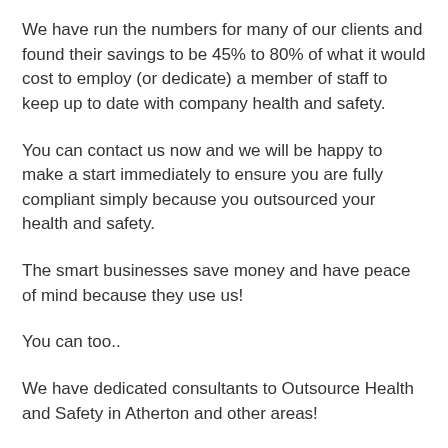We have run the numbers for many of our clients and found their savings to be 45% to 80% of what it would cost to employ (or dedicate) a member of staff to keep up to date with company health and safety.
You can contact us now and we will be happy to make a start immediately to ensure you are fully compliant simply because you outsourced your health and safety.
The smart businesses save money and have peace of mind because they use us!
You can too..
We have dedicated consultants to Outsource Health and Safety in Atherton and other areas!